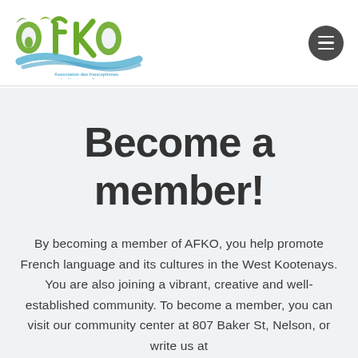[Figure (logo): AFKO logo — Association des francophones des Kootenays Ouest — green stylized text with leaf/nature motifs and blue water splash element]
Become a member!
By becoming a member of AFKO, you help promote French language and its cultures in the West Kootenays. You are also joining a vibrant, creative and well-established community. To become a member, you can visit our community center at 807 Baker St, Nelson, or write us at